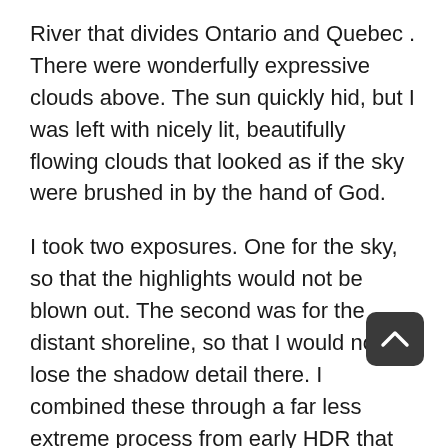River that divides Ontario and Quebec . There were wonderfully expressive clouds above. The sun quickly hid, but I was left with nicely lit, beautifully flowing clouds that looked as if the sky were brushed in by the hand of God.
I took two exposures. One for the sky, so that the highlights would not be blown out. The second was for the distant shoreline, so that I would not lose the shadow detail there. I combined these through a far less extreme process from early HDR that left me with a nice, natural looking image.
Clearly this was a lovely photo just as it was, but I wanted to add more drama with a few coloring tweaks. I took the image into Exposure to see